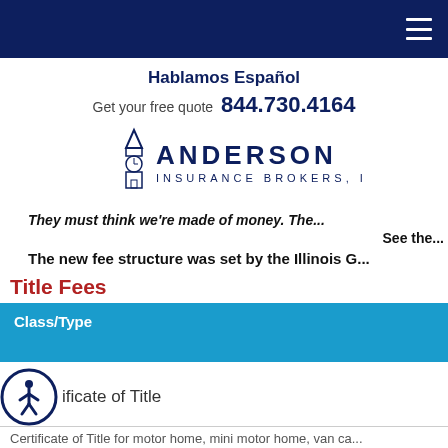Navigation bar with hamburger menu
Hablamos Español
Get your free quote  844.730.4164
[Figure (logo): Anderson Insurance Brokers, Inc. logo with steeple/clock tower icon]
They must think we're made of money. The...
See the...
The new fee structure was set by the Illinois G...
Title Fees
| Class/Type |
| --- |
| Certificate of Title |
| Certificate of Title for motor home, mini motor home, van ca... |
Certificate of Title for motor home, mini motor home, van ca...